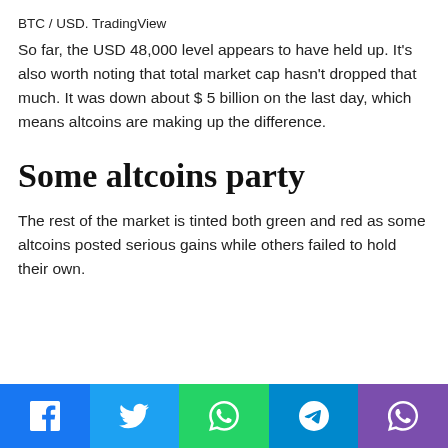BTC / USD. TradingView
So far, the USD 48,000 level appears to have held up. It's also worth noting that total market cap hasn't dropped that much. It was down about $ 5 billion on the last day, which means altcoins are making up the difference.
Some altcoins party
The rest of the market is tinted both green and red as some altcoins posted serious gains while others failed to hold their own.
Social share buttons: Facebook, Twitter, WhatsApp, Telegram, Viber